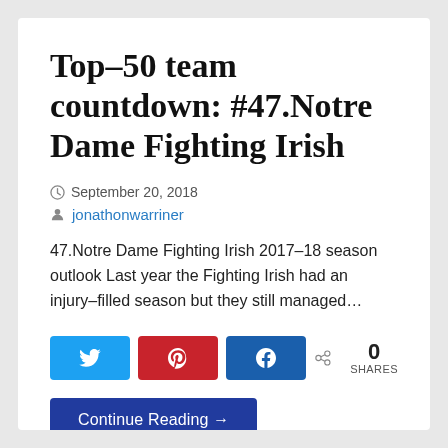Top-50 team countdown: #47.Notre Dame Fighting Irish
September 20, 2018
jonathonwarriner
47.Notre Dame Fighting Irish 2017-18 season outlook Last year the Fighting Irish had an injury-filled season but they still managed...
[Figure (other): Social sharing buttons: Twitter (blue), Pinterest (red), Facebook (blue), and share count showing 0 SHARES]
Continue Reading →